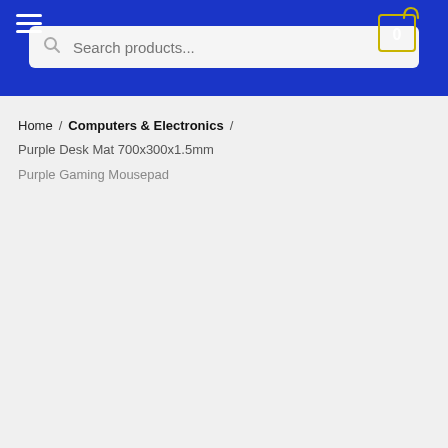Navigation header with hamburger menu and cart (0 items)
Search products...
Home / Computers & Electronics / Purple Desk Mat 700x300x1.5mm Purple Gaming Mousepad